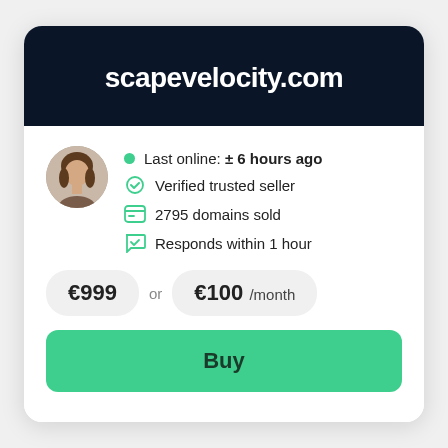scapevelocity.com
Last online: ± 6 hours ago
Verified trusted seller
2795 domains sold
Responds within 1 hour
€999  or  €100 /month
Buy